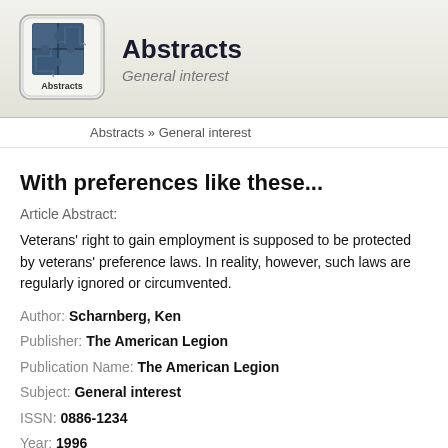Abstracts — General interest
Abstracts » General interest
With preferences like these...
Article Abstract:
Veterans' right to gain employment is supposed to be protected by ve... reality, however, such laws are regularly ignored or circumvented.
Author: Scharnberg, Ken
Publisher: The American Legion
Publication Name: The American Legion
Subject: General interest
ISSN: 0886-1234
Year: 1996